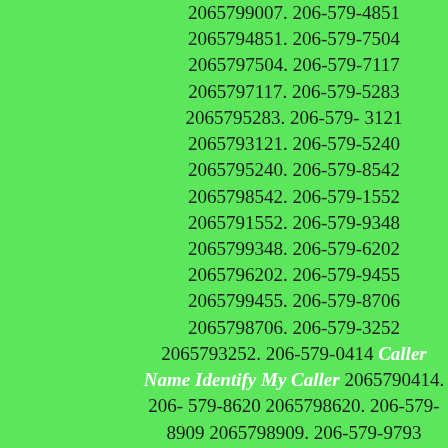2065799007. 206-579-4851 2065794851. 206-579-7504 2065797504. 206-579-7117 2065797117. 206-579-5283 2065795283. 206-579-3121 2065793121. 206-579-5240 2065795240. 206-579-8542 2065798542. 206-579-1552 2065791552. 206-579-9348 2065799348. 206-579-6202 2065796202. 206-579-9455 2065799455. 206-579-8706 2065798706. 206-579-3252 2065793252. 206-579-0414 Caller Name Identify My Caller 2065790414. 206-579-8620 2065798620. 206-579-8909 2065798909. 206-579-9793 2065799793. 206-579-2601 2065792601. 206-579-8946 2065798946. 206-579-3927 2065793927. 206-579-0890 Caller Name Identify My Caller 2065790890. 206-579-8480 2065798480. 206-579-4504 2065794504. 206-579-2809 2065792809. 206-579-0183 Caller Name Identify My Caller 2065790183. 206-579-3010 2065793010. 206-579-3401